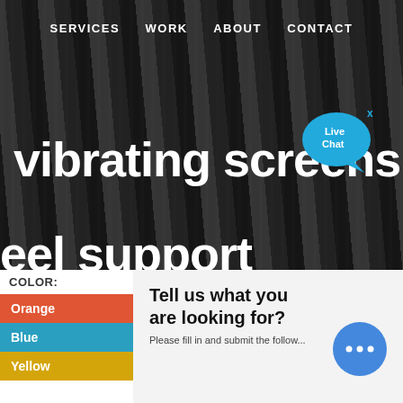SERVICES   WORK   ABOUT   CONTACT
vibrating screens
eel support design
[Figure (illustration): Live Chat speech bubble icon in cyan/blue color with 'x' close button]
COLOR:
Orange
Blue
Yellow
Tell us what you are looking for?
Please fill in and submit the follow...
[Figure (illustration): Circular chat button with three dots in blue]